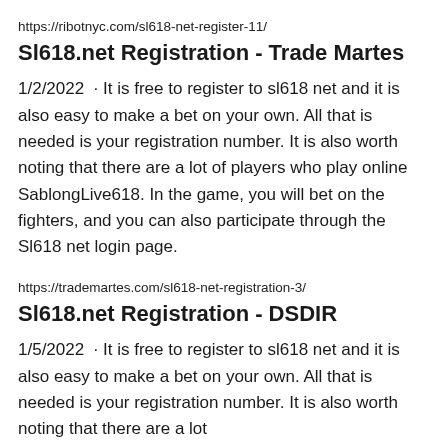https://ribotnyc.com/sl618-net-register-11/
Sl618.net Registration - Trade Martes
1/2/2022 · It is free to register to sl618 net and it is also easy to make a bet on your own. All that is needed is your registration number. It is also worth noting that there are a lot of players who play online SablongLive618. In the game, you will bet on the fighters, and you can also participate through the Sl618 net login page.
https://trademartes.com/sl618-net-registration-3/
Sl618.net Registration - DSDIR
1/5/2022 · It is free to register to sl618 net and it is also easy to make a bet on your own. All that is needed is your registration number. It is also worth noting that there are a lot